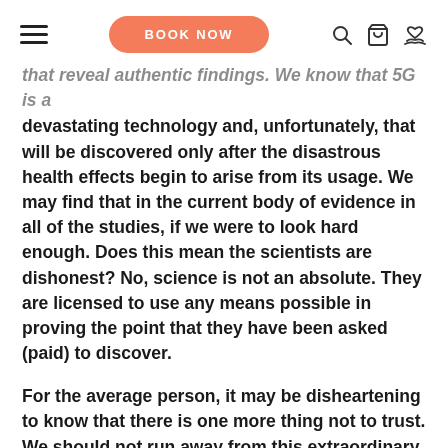BOOK NOW
that reveal authentic findings. We know that 5G is a devastating technology and, unfortunately, that will be discovered only after the disastrous health effects begin to arise from its usage. We may find that in the current body of evidence in all of the studies, if we were to look hard enough. Does this mean the scientists are dishonest? No, science is not an absolute. They are licensed to use any means possible in proving the point that they have been asked (paid) to discover.
For the average person, it may be disheartening to know that there is one more thing not to trust. We should not run away from this extraordinary tool, but rather rekindle its roots, discovering futuristic